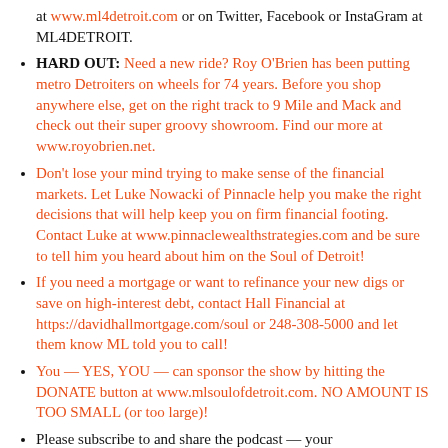at www.ml4detroit.com or on Twitter, Facebook or InstaGram at ML4DETROIT.
HARD OUT: Need a new ride? Roy O'Brien has been putting metro Detroiters on wheels for 74 years. Before you shop anywhere else, get on the right track to 9 Mile and Mack and check out their super groovy showroom. Find our more at www.royobrien.net.
Don't lose your mind trying to make sense of the financial markets. Let Luke Nowacki of Pinnacle help you make the right decisions that will help keep you on firm financial footing. Contact Luke at www.pinnaclewealthstrategies.com and be sure to tell him you heard about him on the Soul of Detroit!
If you need a mortgage or want to refinance your new digs or save on high-interest debt, contact Hall Financial at https://davidhallmortgage.com/soul or 248-308-5000 and let them know ML told you to call!
You — YES, YOU — can sponsor the show by hitting the DONATE button at www.mlsoulofdetroit.com. NO AMOUNT IS TOO SMALL (or too large)!
Please subscribe to and share the podcast — your